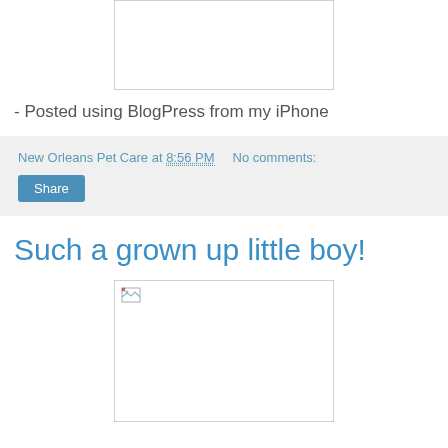[Figure (photo): Partially visible image placeholder at top of page, white background with border]
- Posted using BlogPress from my iPhone
New Orleans Pet Care at 8:56 PM   No comments:
Share
Such a grown up little boy!
[Figure (photo): Image placeholder with broken image icon, white background with border]